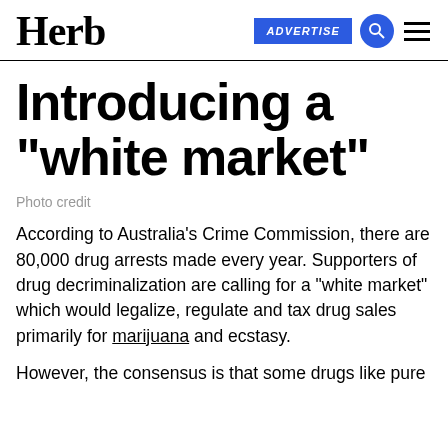Herb | ADVERTISE
Introducing a “white market”
Photo credit
According to Australia’s Crime Commission, there are 80,000 drug arrests made every year. Supporters of drug decriminalization are calling for a “white market” which would legalize, regulate and tax drug sales primarily for marijuana and ecstasy.
However, the consensus is that some drugs like pure